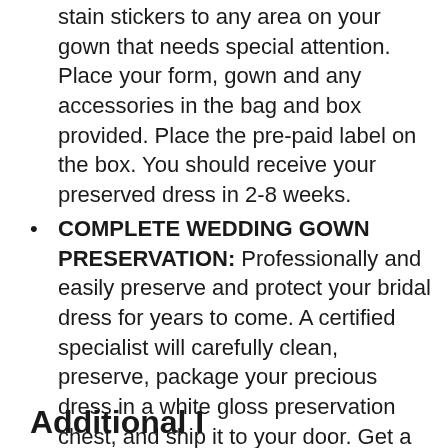stain stickers to any area on your gown that needs special attention. Place your form, gown and any accessories in the bag and box provided. Place the pre-paid label on the box. You should receive your preserved dress in 2-8 weeks.
COMPLETE WEDDING GOWN PRESERVATION: Professionally and easily preserve and protect your bridal dress for years to come. A certified specialist will carefully clean, preserve, package your precious dress in a white gloss preservation chest, and ship it to your door. Get a wonderful keepsake to remember your special day.
Additional I...